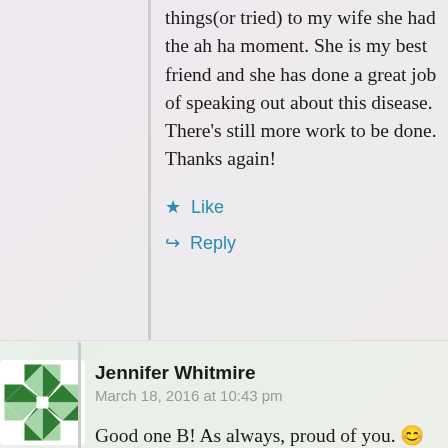things(or tried) to my wife she had the ah ha moment. She is my best friend and she has done a great job of speaking out about this disease. There's still more work to be done. Thanks again!
★ Like
↪ Reply
Jennifer Whitmire
March 18, 2016 at 10:43 pm
[Figure (logo): Green and white geometric quilt-pattern avatar icon for Jennifer Whitmire]
Good one B! As always, proud of you. 😊 👍 I'm proud of my sister (Shannon) too. She